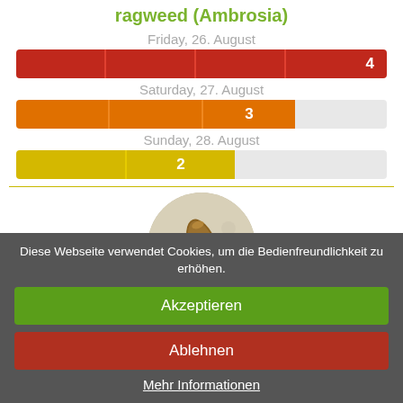ragweed (Ambrosia)
Friday, 26. August
[Figure (bar-chart): Friday forecast]
Saturday, 27. August
[Figure (bar-chart): Saturday forecast]
Sunday, 28. August
[Figure (bar-chart): Sunday forecast]
[Figure (photo): Circular microscope image of ragweed pollen (Ambrosia) spore]
Diese Webseite verwendet Cookies, um die Bedienfreundlichkeit zu erhöhen.
Akzeptieren
Ablehnen
Mehr Informationen